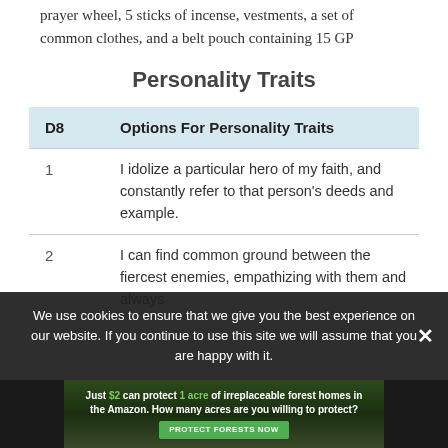prayer wheel, 5 sticks of incense, vestments, a set of common clothes, and a belt pouch containing 15 GP
Personality Traits
| D8 | Options For Personality Traits |
| --- | --- |
| 1 | I idolize a particular hero of my faith, and constantly refer to that person's deeds and example. |
| 2 | I can find common ground between the fiercest enemies, empathizing with them and always |
We use cookies to ensure that we give you the best experience on our website. If you continue to use this site we will assume that you are happy with it.
[Figure (infographic): Advertisement banner: forest/Amazon conservation ad. Text: Just $2 can protect 1 acre of irreplaceable forest homes in the Amazon. How many acres are you willing to protect? Protect Forests Now button.]